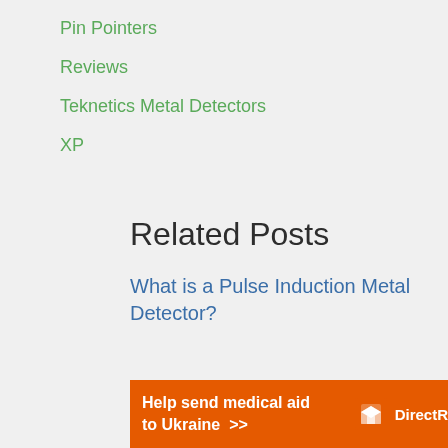Pin Pointers
Reviews
Teknetics Metal Detectors
XP
Related Posts
What is a Pulse Induction Metal Detector?
[Figure (infographic): Orange advertisement banner for Direct Relief: 'Help send medical aid to Ukraine >>' with Direct Relief logo on the right]